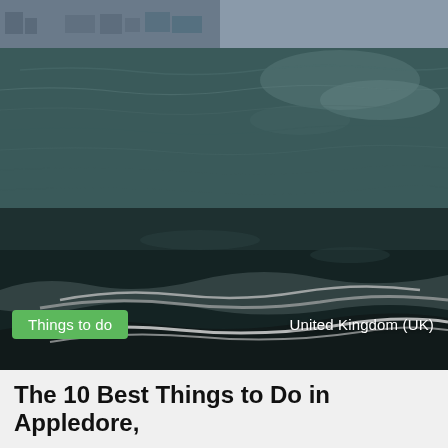[Figure (photo): Dark coastal water scene with waves in the foreground and a distant shoreline with buildings visible in the upper left. The water has a dark teal-green color with light reflections. Taken from low above the water surface.]
Things to do
United Kingdom (UK)
The 10 Best Things to Do in Appledore,